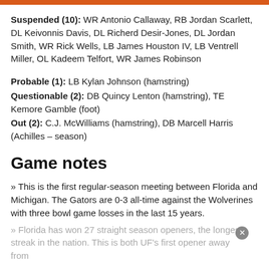Suspended (10): WR Antonio Callaway, RB Jordan Scarlett, DL Keivonnis Davis, DL Richerd Desir-Jones, DL Jordan Smith, WR Rick Wells, LB James Houston IV, LB Ventrell Miller, OL Kadeem Telfort, WR James Robinson
Probable (1): LB Kylan Johnson (hamstring)
Questionable (2): DB Quincy Lenton (hamstring), TE Kemore Gamble (foot)
Out (2): C.J. McWilliams (hamstring), DB Marcell Harris (Achilles – season)
Game notes
» This is the first regular-season meeting between Florida and Michigan. The Gators are 0-3 all-time against the Wolverines with three bowl game losses in the last 15 years.
» Florida has won 27 straight season openers, the longest streak in the nation. This is both UF's first opener away from...